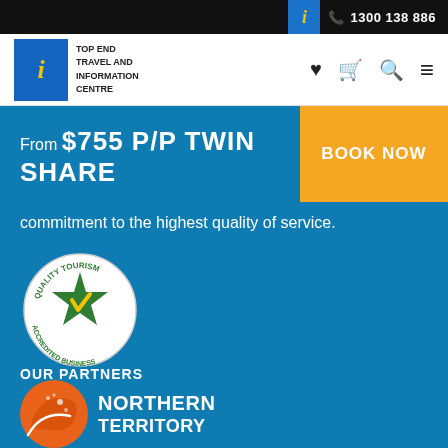1300 138 886
[Figure (logo): Top End Travel and Information Centre logo — blue square with yellow italic i, beside text TOP END TRAVEL AND INFORMATION CENTRE]
From $755 P/P TWIN SHARE
BOOK NOW
commitment to the highest quality of service.
[Figure (logo): Quality Tourism Accredited Business circular badge with green star and gold checkmark]
OUR PARTNERS
[Figure (logo): Northern Territory tourism logo — orange swirl/boomerang shape with text NORTHERN TERRITORY]